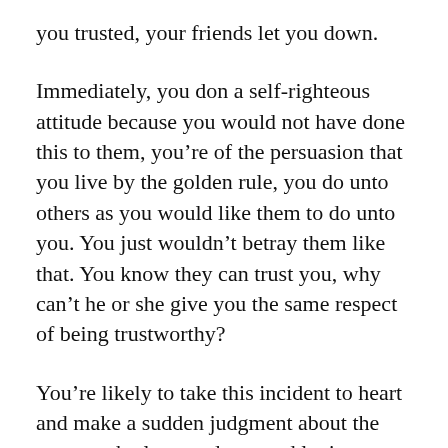you trusted, your friends let you down.
Immediately, you don a self-righteous attitude because you would not have done this to them, you’re of the persuasion that you live by the golden rule, you do unto others as you would like them to do unto you. You just wouldn’t betray them like that. You know they can trust you, why can’t he or she give you the same respect of being trustworthy?
You’re likely to take this incident to heart and make a sudden judgment about the person who let you down and let it gnaw away at you for a while dominating your inner dialogue, reducing your vibration, and making yourself even more